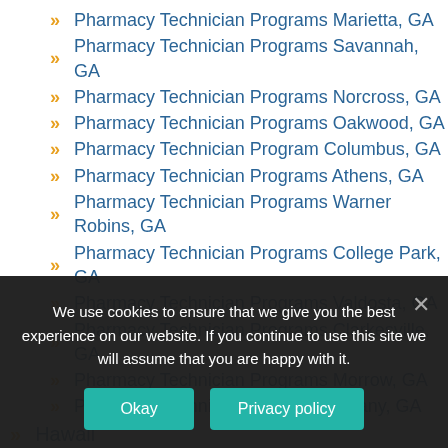Pharmacy Technician Programs Marietta, GA
Pharmacy Technician Programs Savannah, GA
Pharmacy Technician Programs Norcross, GA
Pharmacy Technician Programs Oakwood, GA
Pharmacy Technician Program Columbus, GA
Pharmacy Technician Programs Athens, GA
Pharmacy Technician Programs Warner Robins, GA
Pharmacy Technician Programs College Park, GA
Pharmacy Technician Programs Valdosta, GA
Pharmacy Technician Programs Clarkesville, GA
Pharmacy Technician Programs Morrow, GA
Pharmacy Technician Programs Albany, GA
Hawaii
We use cookies to ensure that we give you the best experience on our website. If you continue to use this site we will assume that you are happy with it.